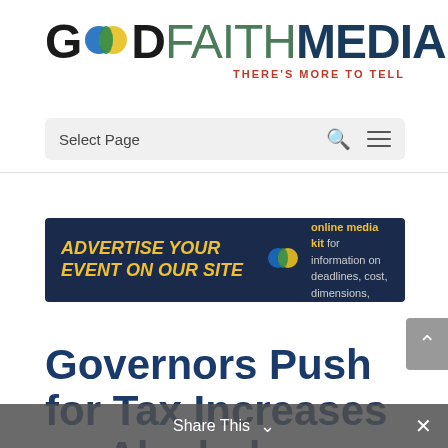[Figure (logo): Good Faith Media logo with circular icon, tagline THERE'S MORE TO TELL]
Select Page
[Figure (infographic): Advertisement banner: ADVERTISE YOUR EVENT ON OUR SITE - View our online media kit for information on deadlines, cost, dimensions, and more!]
Governors Push for Tax Increases on Alcohol
Share This